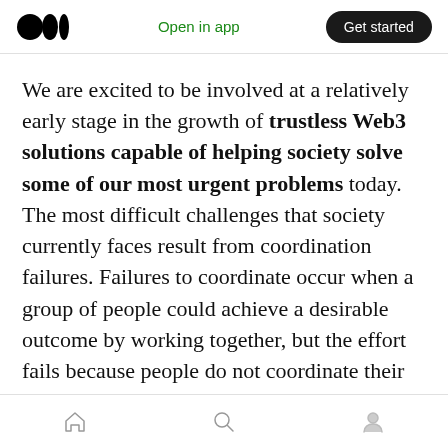Open in app | Get started
We are excited to be involved at a relatively early stage in the growth of trustless Web3 solutions capable of helping society solve some of our most urgent problems today. The most difficult challenges that society currently faces result from coordination failures. Failures to coordinate occur when a group of people could achieve a desirable outcome by working together, but the effort fails because people do not coordinate their decision making.
Coordination failures are situations that
Home | Search | Profile